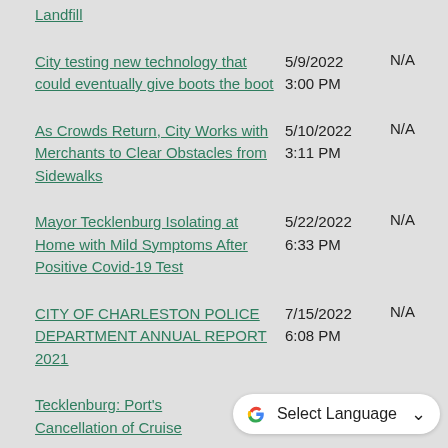Landfill | (link) | date: (partial, top-cropped) | N/A
City testing new technology that could eventually give boots the boot | 5/9/2022 3:00 PM | N/A
As Crowds Return, City Works with Merchants to Clear Obstacles from Sidewalks | 5/10/2022 3:11 PM | N/A
Mayor Tecklenburg Isolating at Home with Mild Symptoms After Positive Covid-19 Test | 5/22/2022 6:33 PM | N/A
CITY OF CHARLESTON POLICE DEPARTMENT ANNUAL REPORT 2021 | 7/15/2022 6:08 PM | N/A
Tecklenburg: Port's Cancellation of Cruise... | 5/25/2022 2:27 PM | N/A